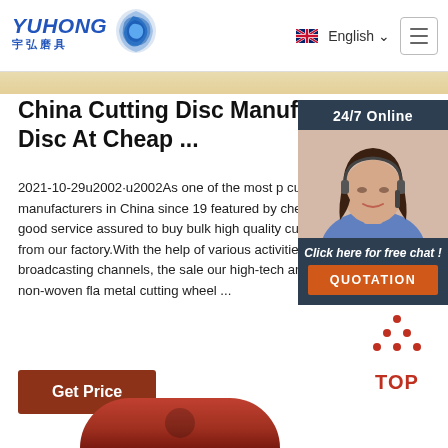YUHONG 宇弘磨具 | English | Menu
China Cutting Disc Manufacturers Disc At Cheap ...
2021-10-29u2002·u2002As one of the most cutting disc manufacturers in China since 19 featured by cheap products and good service assured to buy bulk high quality cutting disc price from our factory.With the help of various activities and broadcasting channels, the sale our high-tech and high-quality non-woven fla metal cutting wheel ...
[Figure (photo): 24/7 Online chat widget with woman wearing headset, and QUOTATION button]
[Figure (other): TOP scroll-to-top button with red dots and text]
[Figure (photo): Bottom portion of a red/brown cutting disc visible at bottom of page]